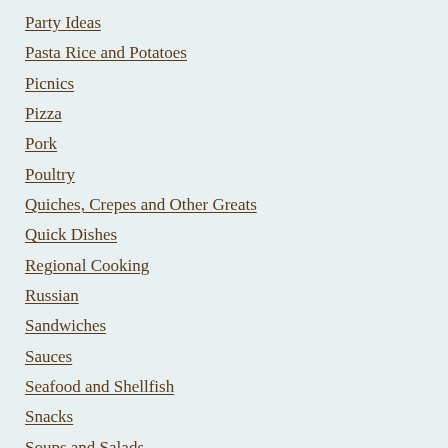Party Ideas
Pasta Rice and Potatoes
Picnics
Pizza
Pork
Poultry
Quiches, Crepes and Other Greats
Quick Dishes
Regional Cooking
Russian
Sandwiches
Sauces
Seafood and Shellfish
Snacks
Soups and Salads
Spanish
St. Patrick's Day
Sundays At Home
Thanksgiving